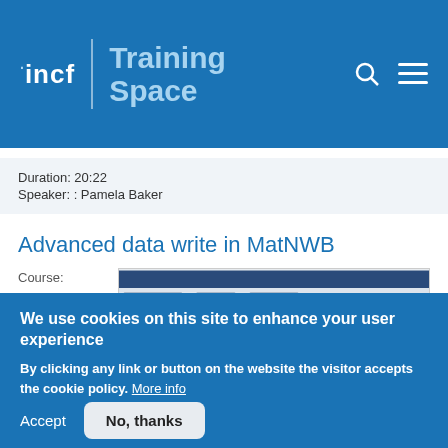[Figure (logo): INCF Training Space logo on blue background with search and menu icons]
Duration: 20:22
Speaker: : Pamela Baker
Advanced data write in MatNWB
Course:
Introduction to
Neurodata
[Figure (screenshot): Screenshot of MatNWB code editor interface showing MATLAB code]
We use cookies on this site to enhance your user experience
By clicking any link or button on the website the visitor accepts the cookie policy. More info
Accept
No, thanks